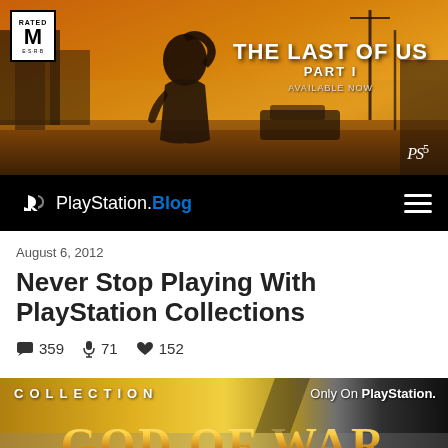[Figure (photo): Banner advertisement for The Last of Us Part I game showing a girl with ponytail in post-apocalyptic setting, with ESRB M rating box, game title text, 'Available Now', and PS5 logo]
PlayStation.Blog navigation bar with hamburger menu
August 6, 2012
Never Stop Playing With PlayStation Collections
359  71  152
[Figure (photo): Collection banner showing 'COLLECTION' label in gold, 'Only On PlayStation.' text on dark right side, and beginning of 'GOD OF WAR' title text in ornate golden lettering at bottom]